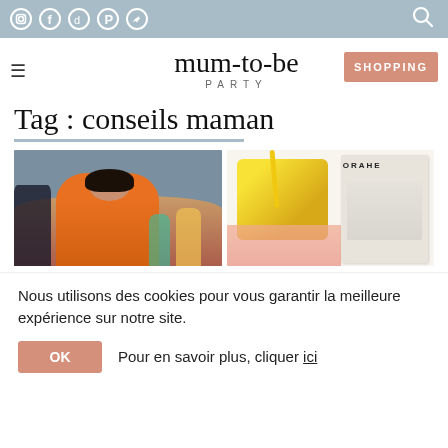Social icons: Instagram, Facebook, TikTok, Pinterest, Twitter | Search icon
[Figure (logo): Mum-to-be Party logo with script font and SHOPPING button]
Tag : conseils maman
[Figure (photo): Two article thumbnail photos side by side: left shows a woman in orange cat sweatshirt on a stage/set; right shows a yellow checkered cup and a book/magazine titled ORAHE]
Nous utilisons des cookies pour vous garantir la meilleure expérience sur notre site.
OK   Pour en savoir plus, cliquer ici